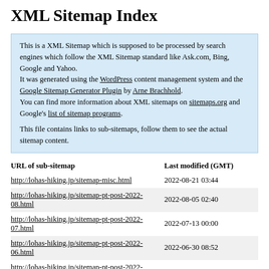XML Sitemap Index
This is a XML Sitemap which is supposed to be processed by search engines which follow the XML Sitemap standard like Ask.com, Bing, Google and Yahoo.
It was generated using the WordPress content management system and the Google Sitemap Generator Plugin by Arne Brachhold.
You can find more information about XML sitemaps on sitemaps.org and Google's list of sitemap programs.

This file contains links to sub-sitemaps, follow them to see the actual sitemap content.
| URL of sub-sitemap | Last modified (GMT) |
| --- | --- |
| http://lohas-hiking.jp/sitemap-misc.html | 2022-08-21 03:44 |
| http://lohas-hiking.jp/sitemap-pt-post-2022-08.html | 2022-08-05 02:40 |
| http://lohas-hiking.jp/sitemap-pt-post-2022-07.html | 2022-07-13 00:00 |
| http://lohas-hiking.jp/sitemap-pt-post-2022-06.html | 2022-06-30 08:52 |
| http://lohas-hiking.jp/sitemap-pt-post-2022-05.html | 2022-05-31 12:36 |
| http://lohas-hiking.jp/sitemap-pt-post-2022-04.html | 2022-04-29 03:27 |